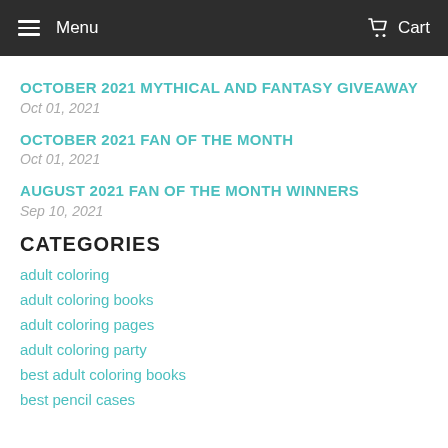Menu   Cart
OCTOBER 2021 MYTHICAL AND FANTASY GIVEAWAY
Oct 01, 2021
OCTOBER 2021 FAN OF THE MONTH
Oct 01, 2021
AUGUST 2021 FAN OF THE MONTH WINNERS
Sep 10, 2021
CATEGORIES
adult coloring
adult coloring books
adult coloring pages
adult coloring party
best adult coloring books
best pencil cases